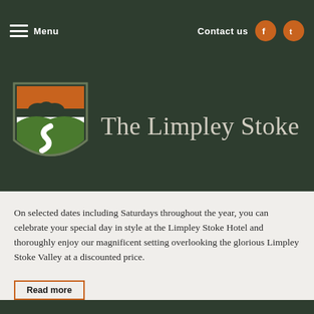Menu   Contact us
The Limpley Stoke
On selected dates including Saturdays throughout the year, you can celebrate your special day in style at the Limpley Stoke Hotel and thoroughly enjoy our magnificent setting overlooking the glorious Limpley Stoke Valley at a discounted price.
Read more